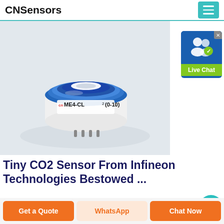CNSensors
[Figure (photo): Close-up photo of a cylindrical electrochemical gas sensor labeled ME4-CL2(0-10) with blue top ring and white body on a light grey background]
[Figure (screenshot): Live Chat widget button with user icon and green Live Chat label]
Tiny CO2 Sensor From Infineon Technologies Bestowed ...
Oct 14, 2021· At four times smaller and three times lighter
Get a Quote | WhatsApp | Chat Now